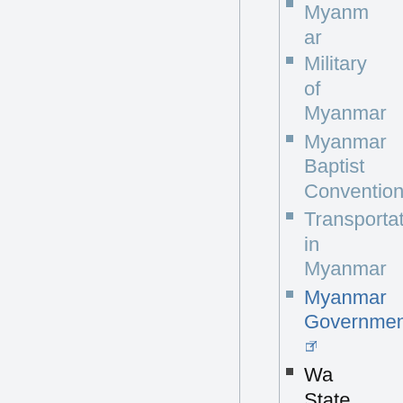Military of Myanmar
Myanmar Baptist Convention
Transportation in Myanmar
Myanmar Government (external link)
Wa State
Golden Triangle